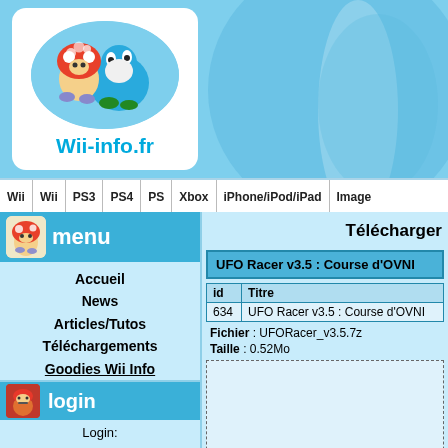[Figure (logo): Wii-info.fr website logo with Nintendo characters (Toad and Yoshi) on blue circle background]
Wii | Wii | PS3 | PS4 | PS | Xbox | iPhone/iPod/iPad | Image
menu
Accueil
News
Articles/Tutos
Téléchargements
Goodies Wii Info
Forum
Rechercher
Utilisateurs
Contact - don - IRC
login
Login:
Télécharger
UFO Racer v3.5 : Course d'OVNI
| id | Titre |
| --- | --- |
| 634 | UFO Racer v3.5 : Course d'OVNI |
Fichier : UFORacer_v3.5.7z
Taille : 0.52Mo